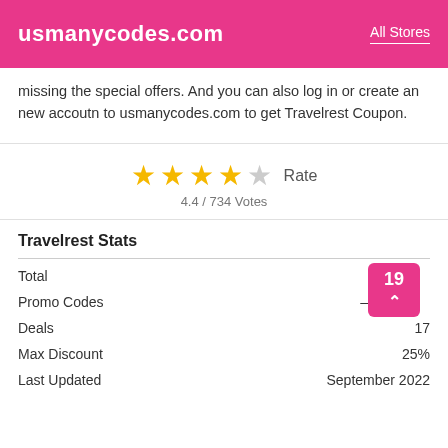usmanycodes.com   All Stores
missing the special offers. And you can also log in or create an new accoutn to usmanycodes.com to get Travelrest Coupon.
[Figure (other): 4 filled gold stars and 1 empty star, label 'Rate', with vote count 4.4 / 734 Votes below]
Travelrest Stats
|  |  |
| --- | --- |
| Total | 19 |
| Promo Codes | – |
| Deals | 17 |
| Max Discount | 25% |
| Last Updated | September 2022 |